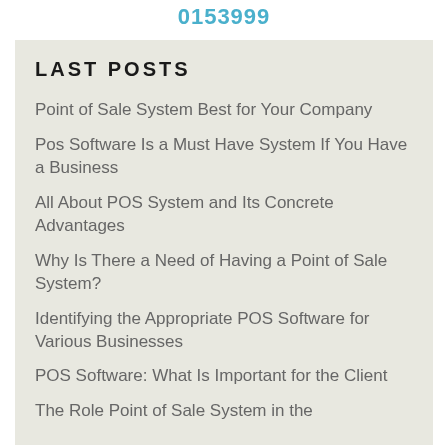0153999
LAST POSTS
Point of Sale System Best for Your Company
Pos Software Is a Must Have System If You Have a Business
All About POS System and Its Concrete Advantages
Why Is There a Need of Having a Point of Sale System?
Identifying the Appropriate POS Software for Various Businesses
POS Software: What Is Important for the Client
The Role Point of Sale System in the